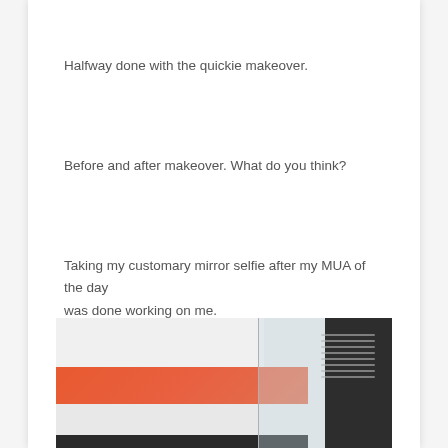Halfway done with the quickie makeover.
Before and after makeover. What do you think?
Taking my customary mirror selfie after my MUA of the day was done working on me.
[Figure (photo): A mirror selfie photo showing a person. The image has an orange/coral-colored band across the middle, a dark right edge (phone/mirror frame), a light gray upper portion, and a dark bottom strip. A phone screen with faint lines is partially visible on the right side.]